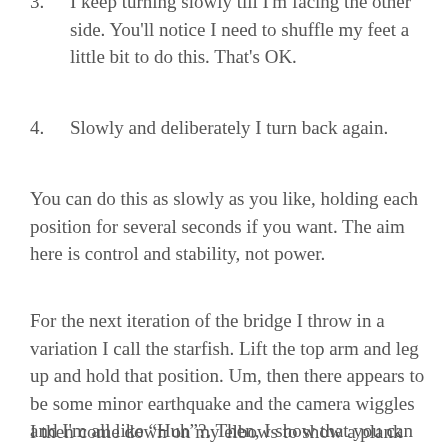3. I keep turning slowly till I'm facing the other side. You'll notice I need to shuffle my feet a little bit to do this. That's OK.
4. Slowly and deliberately I turn back again.
You can do this as slowly as you like, holding each position for several seconds if you want. The aim here is control and stability, not power.
For the next iteration of the bridge I throw in a variation I call the starfish. Lift the top arm and leg up and hold that position. Um, then there appears to be some minor earthquake and the camera wiggles and I'm all like “Huh”?. Then, I show that you can just hold one arm up if you prefer. Then another starfish iteration.
I then come down on my elbows to show a plank